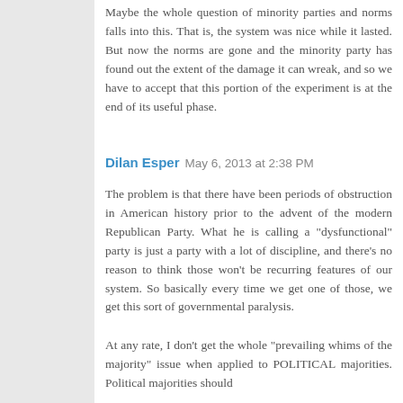Maybe the whole question of minority parties and norms falls into this. That is, the system was nice while it lasted. But now the norms are gone and the minority party has found out the extent of the damage it can wreak, and so we have to accept that this portion of the experiment is at the end of its useful phase.
Dilan Esper  May 6, 2013 at 2:38 PM
The problem is that there have been periods of obstruction in American history prior to the advent of the modern Republican Party. What he is calling a "dysfunctional" party is just a party with a lot of discipline, and there's no reason to think those won't be recurring features of our system. So basically every time we get one of those, we get this sort of governmental paralysis.
At any rate, I don't get the whole "prevailing whims of the majority" issue when applied to POLITICAL majorities. Political majorities should